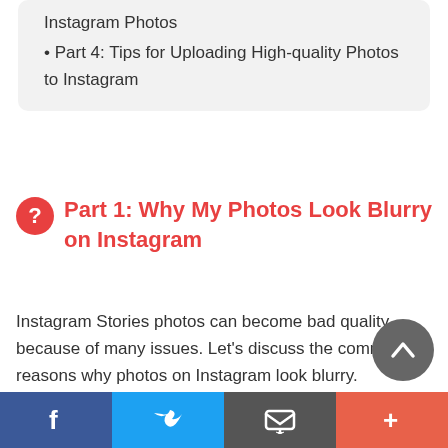Instagram Photos
• Part 4: Tips for Uploading High-quality Photos to Instagram
Part 1: Why My Photos Look Blurry on Instagram
Instagram Stories photos can become bad quality because of many issues. Let's discuss the common reasons why photos on Instagram look blurry.